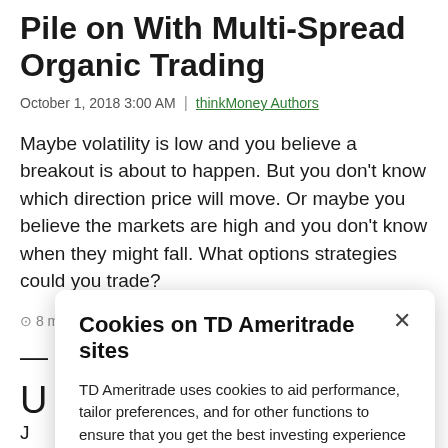Pile on With Multi-Spread Organic Trading
October 1, 2018 3:00 AM  |  thinkMoney Authors
Maybe volatility is low and you believe a breakout is about to happen. But you don't know which direction price will move. Or maybe you believe the markets are high and you don't know when they might fall. What options strategies could you trade?
⊙ 8 min read  |  thinkMoney Magazine
Cookies on TD Ameritrade sites
TD Ameritrade uses cookies to aid performance, tailor preferences, and for other functions to ensure that you get the best investing experience on our websites.
Adjust cookie settings
volatility, and the price of the underlying are